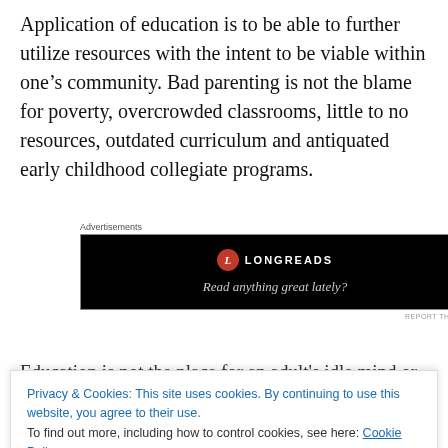Application of education is to be able to further utilize resources with the intent to be viable within one’s community. Bad parenting is not the blame for poverty, overcrowded classrooms, little to no resources, outdated curriculum and antiquated early childhood collegiate programs.
[Figure (screenshot): Longreads advertisement banner with black background showing the Longreads logo (red circle with L) and tagline 'Read anything great lately?']
Education is not the place for an adult’s idle mind or savior
Privacy & Cookies: This site uses cookies. By continuing to use this website, you agree to their use.
To find out more, including how to control cookies, see here: Cookie Policy